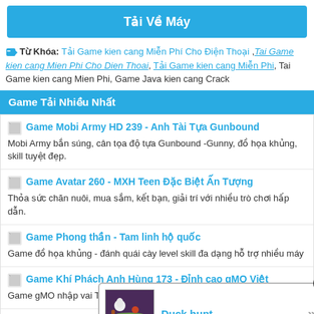Tải Về Máy
Từ Khóa: Tải Game kien cang Miễn Phí Cho Điện Thoại, Tai Game kien cang Mien Phi Cho Dien Thoai, Tải Game kien cang Miễn Phi, Tai Game kien cang Mien Phi, Game Java kien cang Crack
Game Tải Nhiều Nhất
Game Mobi Army HD 239 - Anh Tài Tựa Gunbound
Mobi Army bắn súng, cân tọa độ tựa Gunbound -Gunny, đồ họa khủng, skill tuyệt đẹp.
Game Avatar 260 - MXH Teen Đặc Biệt Ấn Tượng
Thỏa sức chăn nuôi, mua sắm, kết bạn, giải trí với nhiều trò chơi hấp dẫn.
Game Phong thần - Tam linh hộ quốc
Game đồ họa khủng - đánh quái cày level skill đa dạng hỗ trợ nhiều máy
Game Khí Phách Anh Hùng 173 - Đỉnh cao gMO Việt
Game gMO nhập vai Thuần Việt PK nảy lửa, skill chưởng rồng, sét giật
Game ...
Ga... dân gian
[Figure (screenshot): Popup ad showing Duck hunt game with close button]